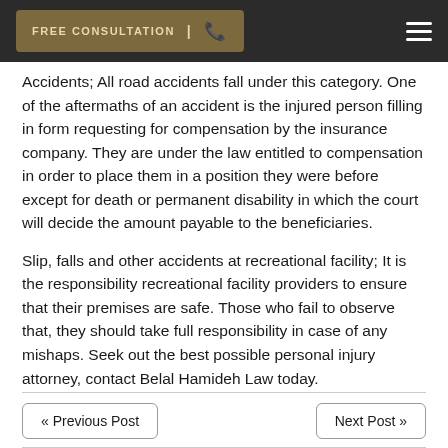FREE CONSULTATION | [phone icon] [hamburger menu]
Accidents; All road accidents fall under this category. One of the aftermaths of an accident is the injured person filling in form requesting for compensation by the insurance company. They are under the law entitled to compensation in order to place them in a position they were before except for death or permanent disability in which the court will decide the amount payable to the beneficiaries.
Slip, falls and other accidents at recreational facility; It is the responsibility recreational facility providers to ensure that their premises are safe. Those who fail to observe that, they should take full responsibility in case of any mishaps. Seek out the best possible personal injury attorney, contact Belal Hamideh Law today.
« Previous Post    Next Post »